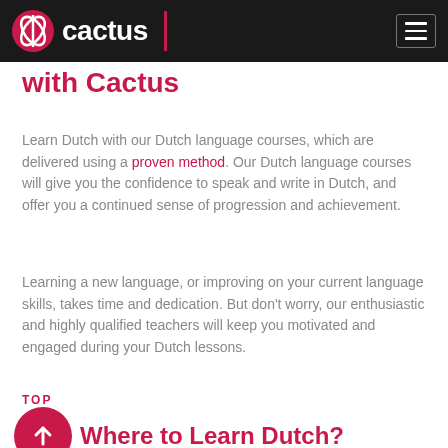cactus
with Cactus
Learn Dutch with our Dutch language courses, which are delivered using a proven method. Our Dutch language courses will give you the confidence to speak and write in Dutch, and offer you a continued sense of progression and achievement.
Learning a new language, or improving on your current language skills, takes time and dedication. But don't worry, our enthusiastic and highly qualified teachers will keep you motivated and engaged during your Dutch lessons.
TOP
Where to Learn Dutch?